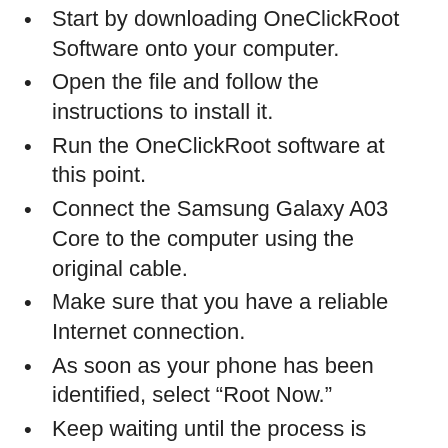Start by downloading OneClickRoot Software onto your computer.
Open the file and follow the instructions to install it.
Run the OneClickRoot software at this point.
Connect the Samsung Galaxy A03 Core to the computer using the original cable.
Make sure that you have a reliable Internet connection.
As soon as your phone has been identified, select “Root Now.”
Keep waiting until the process is completed.
Well done, you have successfully rooted your Samsung Galaxy A03 Core smartphone!
How to Determine Whether